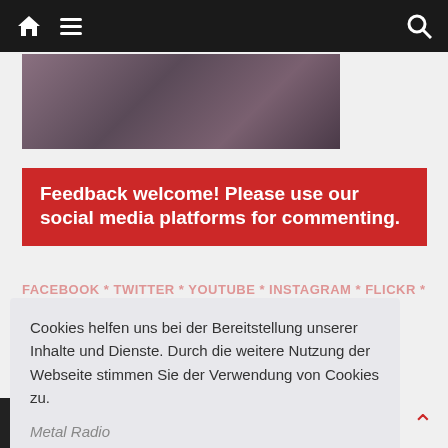Navigation bar with home icon, hamburger menu, and search icon
[Figure (photo): Partial view of a person's face/neck, screenshot of a video]
Feedback welcome! Please use our social media platforms for commenting.
FACEBOOK * TWITTER * YOUTUBE * INSTAGRAM * FLICKR *
Cookies helfen uns bei der Bereitstellung unserer Inhalte und Dienste. Durch die weitere Nutzung der Webseite stimmen Sie der Verwendung von Cookies zu.
Okay!
Metal Radio
Privacy & Cookies Policy